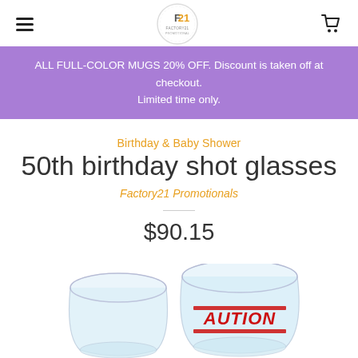F21 | Hamburger menu | Cart icon
ALL FULL-COLOR MUGS 20% OFF. Discount is taken off at checkout. Limited time only.
Birthday & Baby Shower
50th birthday shot glasses
Factory21 Promotionals
$90.15
[Figure (photo): Two clear glass shot glasses, one with red CAUTION stamp text printed on it]